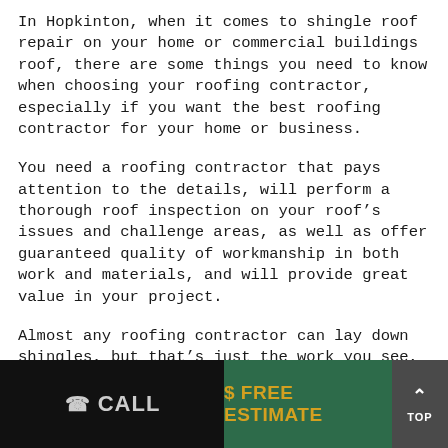In Hopkinton, when it comes to shingle roof repair on your home or commercial buildings roof, there are some things you need to know when choosing your roofing contractor, especially if you want the best roofing contractor for your home or business.
You need a roofing contractor that pays attention to the details, will perform a thorough roof inspection on your roof's issues and challenge areas, as well as offer guaranteed quality of workmanship in both work and materials, and will provide great value in your project.
Almost any roofing contractor can lay down shingles, but that's just the work you see, it's like the old saying,
CALL   $ FREE ESTIMATE   TOP